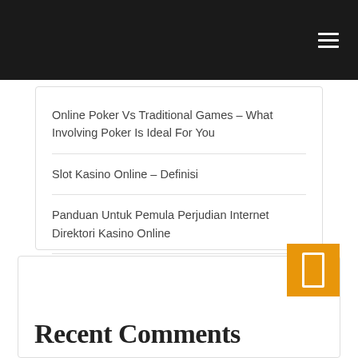Online Poker Vs Traditional Games – What Involving Poker Is Ideal For You
Slot Kasino Online – Definisi
Panduan Untuk Pemula Perjudian Internet Direktori Kasino Online
Essential Eco-Friendly Menjadi Pemain Poker yang Efektif
Recent Comments